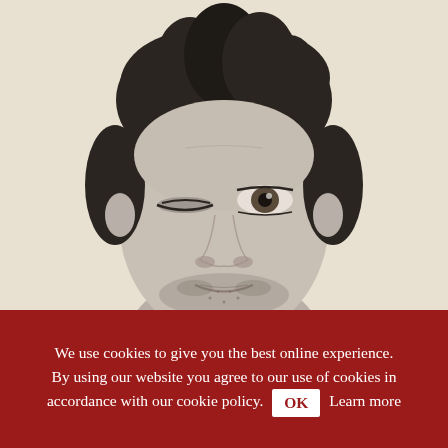[Figure (photo): Black and white close-up portrait photograph of a man with tousled dark hair, one eye squinting or winking, slight stubble, against a light cream/off-white background. The photo is cropped to show the face and top of shoulders.]
We use cookies to give you the best online experience. By using our website you agree to our use of cookies in accordance with our cookie policy. OK Learn more